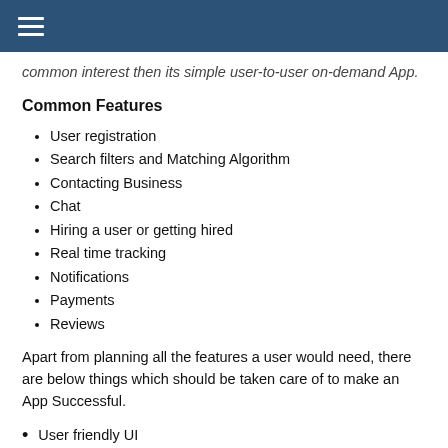☰
common interest then its simple user-to-user on-demand App.
Common Features
User registration
Search filters and Matching Algorithm
Contacting Business
Chat
Hiring a user or getting hired
Real time tracking
Notifications
Payments
Reviews
Apart from planning all the features a user would need, there are below things which should be taken care of to make an App Successful.
User friendly UI